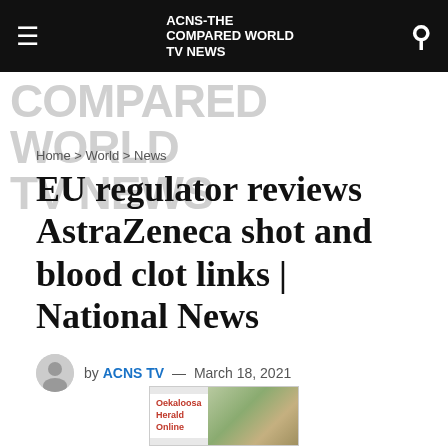ACNS-THE COMPARED WORLD TV NEWS
Home > World > News
EU regulator reviews AstraZeneca shot and blood clot links | National News
by ACNS TV — March 18, 2021
[Figure (photo): Oekaloosa Herald Online advertisement banner with text and outdoor image]